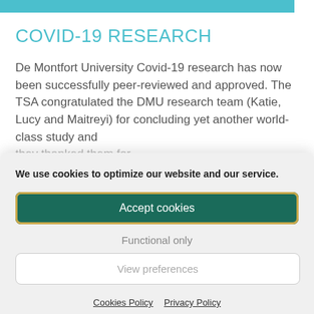COVID-19 RESEARCH
De Montfort University Covid-19 research has now been successfully peer-reviewed and approved. The TSA congratulated the DMU research team (Katie, Lucy and Maitreyi) for concluding yet another world-class study and
We use cookies to optimize our website and our service.
Accept cookies
Functional only
View preferences
Cookies Policy   Privacy Policy